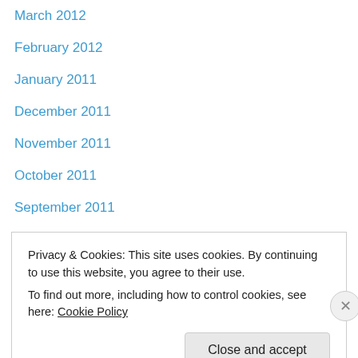March 2012
February 2012
January 2011
December 2011
November 2011
October 2011
September 2011
July 2011
Categories
babies (9)
Privacy & Cookies: This site uses cookies. By continuing to use this website, you agree to their use.
To find out more, including how to control cookies, see here: Cookie Policy